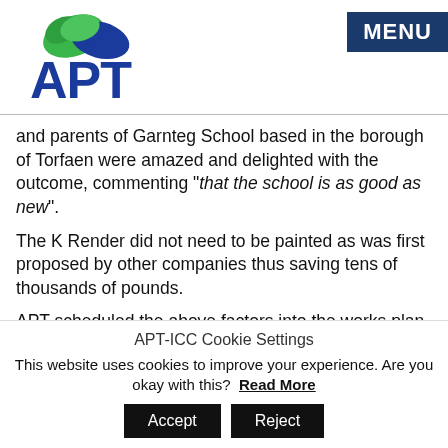[Figure (logo): APT (Advanced Preservation Technologies) logo with green and blue intertwined swoosh above blue APT text]
MENU
and parents of Garnteg School based in the borough of Torfaen were amazed and delighted with the outcome, commenting "that the school is as good as new".
The K Render did not need to be painted as was first proposed by other companies thus saving tens of thousands of pounds.
APT scheduled the above factors into the works plan, we managed it vigorously making the necessary allowances. It
APT-ICC Cookie Settings
This website uses cookies to improve your experience. Are you okay with this? Read More
Accept
Reject